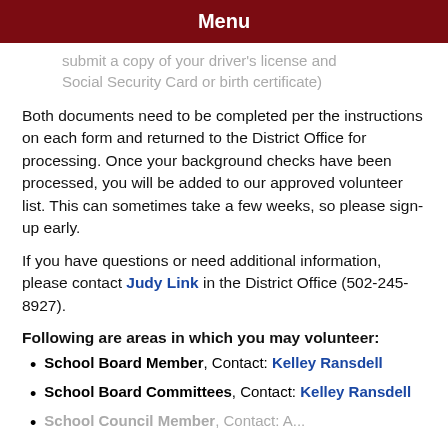Menu
submit a copy of your driver's license and Social Security Card or birth certificate)
Both documents need to be completed per the instructions on each form and returned to the District Office for processing. Once your background checks have been processed, you will be added to our approved volunteer list. This can sometimes take a few weeks, so please sign-up early.
If you have questions or need additional information, please contact Judy Link in the District Office (502-245-8927).
Following are areas in which you may volunteer:
School Board Member, Contact: Kelley Ransdell
School Board Committees, Contact: Kelley Ransdell
School Council Member, Contact: A...